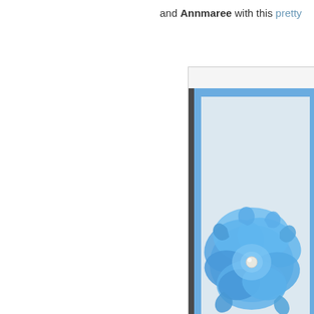and Annmaree with this pretty
[Figure (photo): A handmade greeting card with a blue fabric flower decoration in the center and the text 'thinking of you!' stamped at the bottom, set against a light blue background with blue mat borders.]